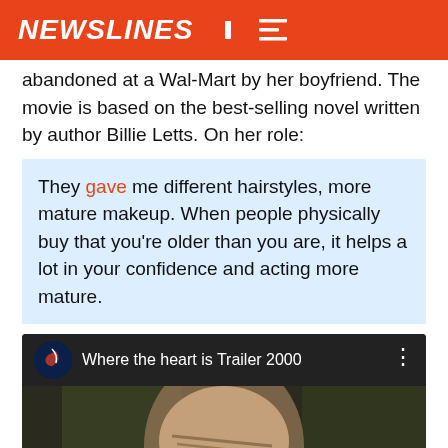NEWSLINES
abandoned at a Wal-Mart by her boyfriend. The movie is based on the best-selling novel written by author Billie Letts. On her role:
They gave me different hairstyles, more mature makeup. When people physically buy that you're older than you are, it helps a lot in your confidence and acting more mature.
[Figure (screenshot): YouTube video embed showing 'Where the heart is Trailer 2000' with a still frame of a young woman with braided hair looking down, and a red YouTube play button at the bottom center.]